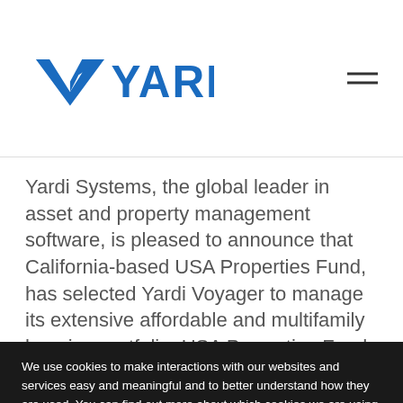[Figure (logo): Yardi logo with blue checkmark/arrow symbol and YARDI text in blue]
Yardi Systems, the global leader in asset and property management software, is pleased to announce that California-based USA Properties Fund, has selected Yardi Voyager to manage its extensive affordable and multifamily housing portfolio. USA Properties Fund is a privately
We use cookies to make interactions with our websites and services easy and meaningful and to better understand how they are used. You can find out more about which cookies we are using and update your preferences in settings. By continuing to browse this Site or closing this banner, you are agreeing to our use of cookies.
Accept